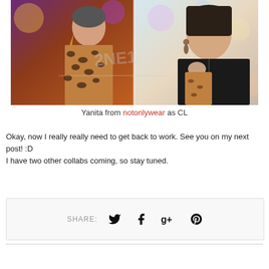[Figure (photo): Two side-by-side fashion photos: left shows a woman in a leopard print outfit with statement earrings under colorful lighting; right shows a woman in a black leather jacket with drop earrings holding a bag. A watermark reading '2NE1' overlays the center.]
Yanita from notonlywear as CL
Okay, now I really really need to get back to work. See you on my next post! :D
I have two other collabs coming, so stay tuned.